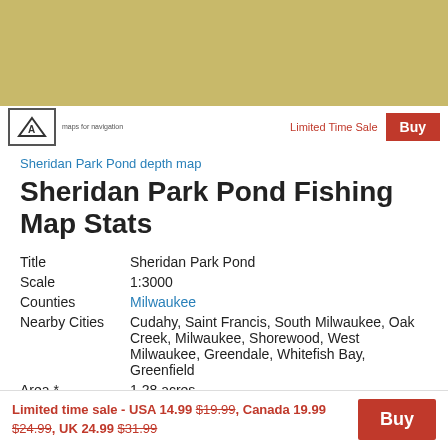[Figure (map): Sheridan Park Pond depth map banner image with tan/khaki background, logo and buy button bar at bottom]
Sheridan Park Pond depth map
Sheridan Park Pond Fishing Map Stats
| Title | Sheridan Park Pond |
| Scale | 1:3000 |
| Counties | Milwaukee |
| Nearby Cities | Cudahy, Saint Francis, South Milwaukee, Oak Creek, Milwaukee, Shorewood, West Milwaukee, Greendale, Whitefish Bay, Greenfield |
| Area * | 1.28 acres |
| Shoreline * | 0.17 miles |
| Min Longitude | -87.85 |
| Min Latitude | 42.96 |
Limited time sale - USA 14.99 $19.99, Canada 19.99 $24.99, UK 24.99 $31.99